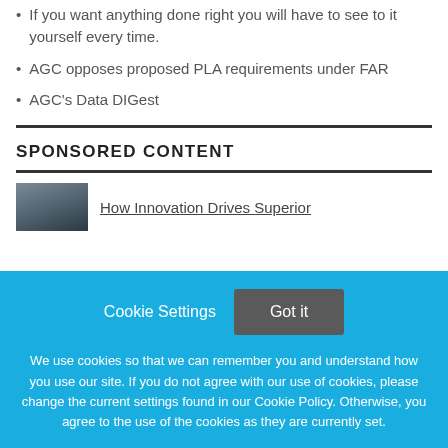If you want anything done right you will have to see to it yourself every time.
AGC opposes proposed PLA requirements under FAR
AGC's Data DIGest
SPONSORED CONTENT
[Figure (photo): Small thumbnail image of a landscape/industrial scene, partially visible]
How Innovation Drives Superior
Cookie Settings   Got it

We use cookies so that we can remember you and understand how you use our site. If you do not agree with our use of cookies, please change the current settings found in our Cookie Policy. Otherwise, you agree to the use of the cookies as they are currently set.